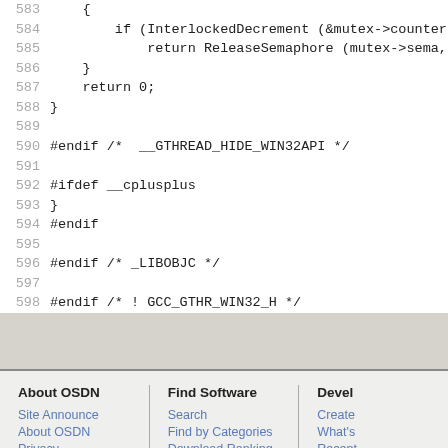Code lines 583-598: C code showing mutex decrement, ReleaseSemaphore, #endif directives for __GTHREAD_HIDE_WIN32API, __cplusplus, _LIBOBJC, GCC_GTHR_WIN32_H
About OSDN: Site Announce, About OSDN, Privacy, Terms of Use, Advertise | Find Software: Search, Find by Categories, Download Ranking, Project Ranking | Devel: Create, What's, Recent, Cham, API | Copyright ©OS